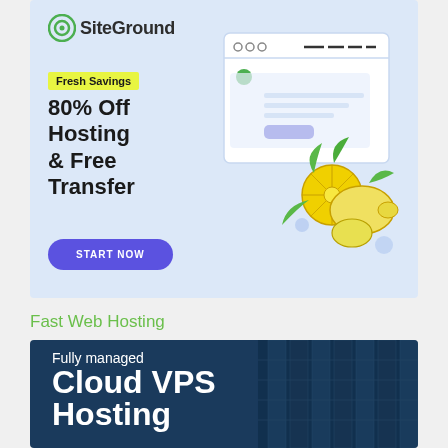[Figure (illustration): SiteGround advertisement banner with light blue background. Shows SiteGround logo at top left, yellow 'Fresh Savings' badge, bold text '80% Off Hosting & Free Transfer', a purple 'START NOW' button, and a browser window illustration with lemons on the right side.]
Fast Web Hosting
[Figure (illustration): Dark blue advertisement banner for 'Fully managed Cloud VPS Hosting' with server rack imagery in the background.]